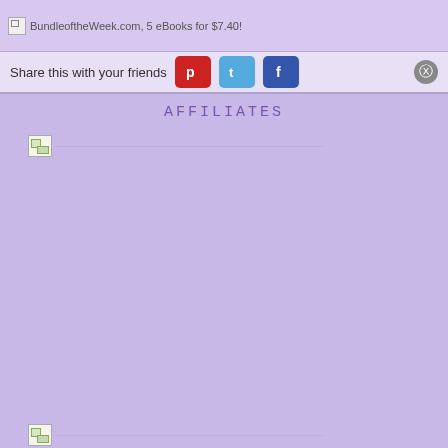BundleoftheWeek.com, 5 eBooks for $7.40!
Share this with your friends
AFFILIATES
[Figure (other): Broken/unloaded affiliate image placeholder (top)]
[Figure (other): Broken/unloaded affiliate image placeholder (bottom)]